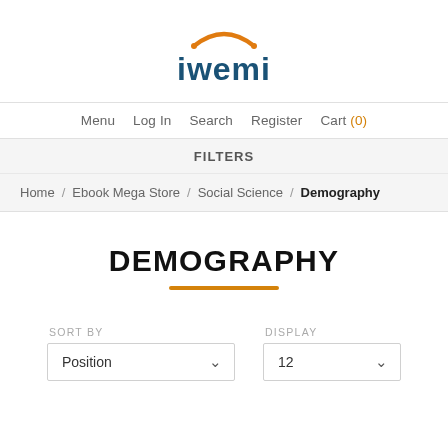[Figure (logo): iwemi logo with orange arc above the text and blue lowercase letters]
Menu  Log In  Search  Register  Cart (0)
FILTERS
Home / Ebook Mega Store / Social Science / Demography
DEMOGRAPHY
SORT BY  Position   DISPLAY  12